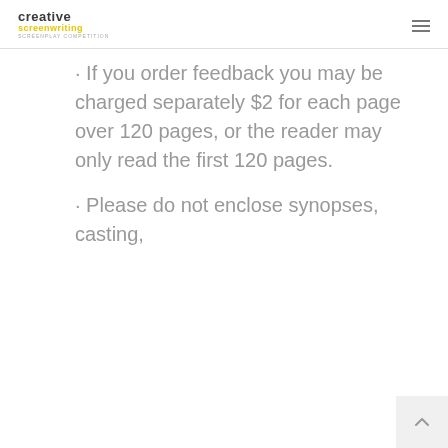creative screenwriting screenplay competition
· If you order feedback you may be charged separately $2 for each page over 120 pages, or the reader may only read the first 120 pages.
· Please do not enclose synopses, casting,